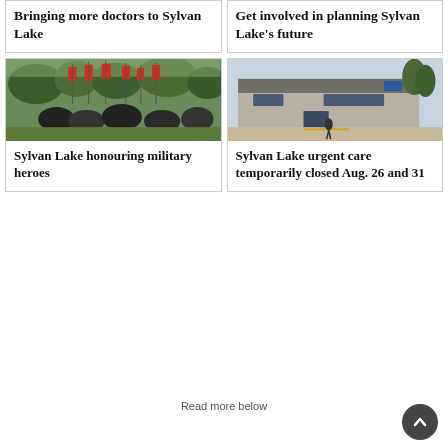Bringing more doctors to Sylvan Lake
Get involved in planning Sylvan Lake's future
[Figure (photo): People on horseback carrying Canadian flags in a parade/procession on a grassy field with trees in background]
Sylvan Lake honouring military heroes
[Figure (photo): Exterior of Sylvan Lake urgent care / medical centre building with trees and parking lot]
Sylvan Lake urgent care temporarily closed Aug. 26 and 31
Read more below